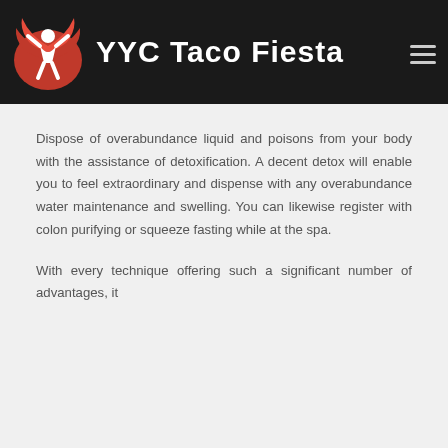[Figure (logo): YYC Taco Fiesta logo with red wing/flame design and white figure, on dark background header]
Dispose of overabundance liquid and poisons from your body with the assistance of detoxification. A decent detox will enable you to feel extraordinary and dispense with any overabundance water maintenance and swelling. You can likewise register with colon purifying or squeeze fasting while at the spa.
With every technique offering such a significant number of advantages, it